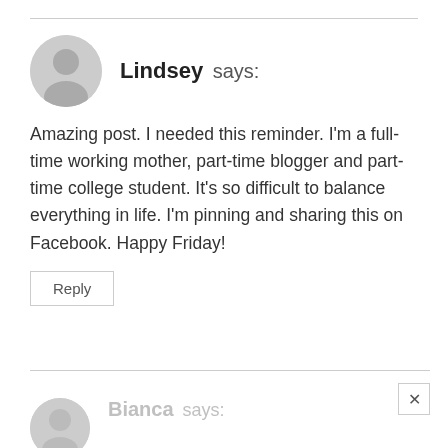Lindsey says:
Amazing post. I needed this reminder. I'm a full-time working mother, part-time blogger and part-time college student. It's so difficult to balance everything in life. I'm pinning and sharing this on Facebook. Happy Friday!
Reply
Bianca says: